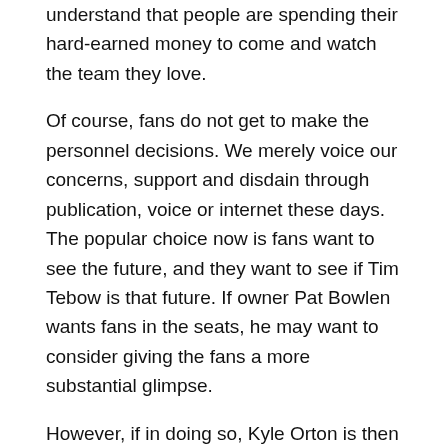understand that people are spending their hard-earned money to come and watch the team they love.
Of course, fans do not get to make the personnel decisions. We merely voice our concerns, support and disdain through publication, voice or internet these days. The popular choice now is fans want to see the future, and they want to see if Tim Tebow is that future. If owner Pat Bowlen wants fans in the seats, he may want to consider giving the fans a more substantial glimpse.
However, if in doing so, Kyle Orton is then considered expendable, the franchise may want to consider recent history and determine if that is indeed the course of action they want to take. There is a big risk in going with a QB who lacks experience. Denver has not seen a playoff game in five years due [Previous button] akin to this in 2006. What fans really should be asking themselves is if they